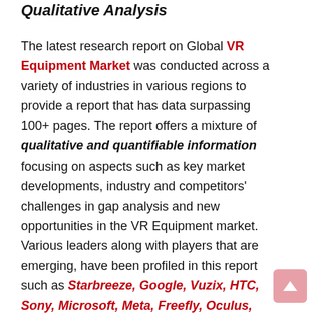Qualitative Analysis
The latest research report on Global VR Equipment Market was conducted across a variety of industries in various regions to provide a report that has data surpassing 100+ pages. The report offers a mixture of qualitative and quantifiable information focusing on aspects such as key market developments, industry and competitors' challenges in gap analysis and new opportunities in the VR Equipment market. Various leaders along with players that are emerging, have been profiled in this report such as Starbreeze, Google, Vuzix, HTC, Sony, Microsoft, Meta, Freefly, Oculus, Samsung, Vive, Avegant, Razer, Zeiss, VisusVR, FOVE